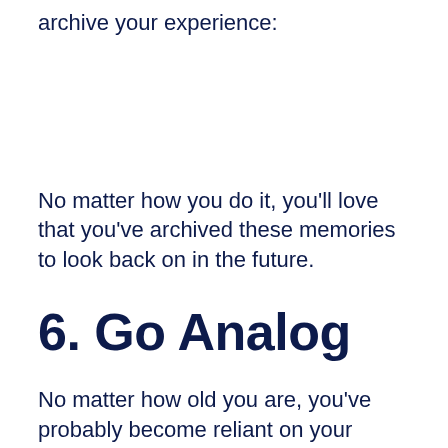archive your experience:
No matter how you do it, you'll love that you've archived these memories to look back on in the future.
6. Go Analog
No matter how old you are, you've probably become reliant on your phone or GPS for directions. Modern technology has allowed road trips to become as easy